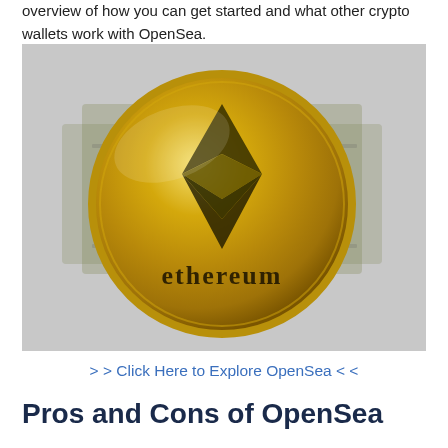overview of how you can get started and what other crypto wallets work with OpenSea.
[Figure (photo): A gold Ethereum coin with the Ethereum diamond logo and the word 'ethereum' engraved, resting on a surface with US dollar bills in the background.]
> > Click Here to Explore OpenSea < <
Pros and Cons of OpenSea